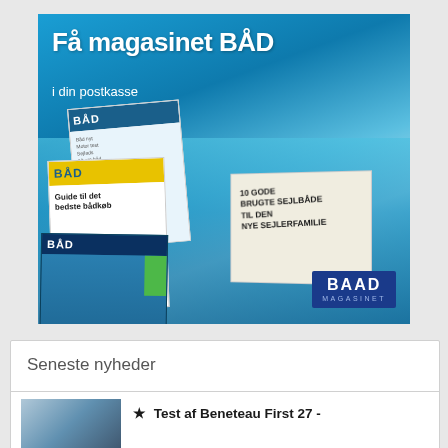[Figure (illustration): Advertisement for BAAD Magasinet (magazine BÅD) showing multiple magazine covers stacked, a person reading an open magazine with text '10 GODE BRUGTE SEJLBÅDE TIL DEN NYE SEJLERFAMILIE', with headline 'Få magasinet BÅD i din postkasse' and BAAD MAGASINET logo badge in bottom right corner.]
Seneste nyheder
★ Test af Beneteau First 27 -